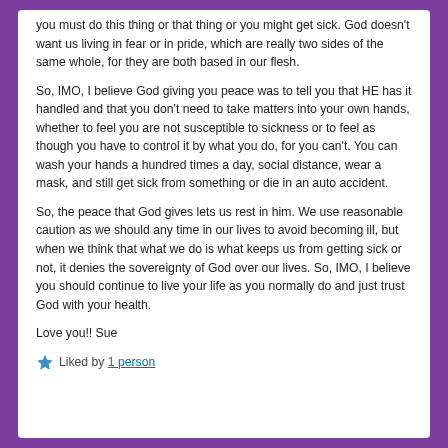you must do this thing or that thing or you might get sick. God doesn't want us living in fear or in pride, which are really two sides of the same whole, for they are both based in our flesh.
So, IMO, I believe God giving you peace was to tell you that HE has it handled and that you don't need to take matters into your own hands, whether to feel you are not susceptible to sickness or to feel as though you have to control it by what you do, for you can't. You can wash your hands a hundred times a day, social distance, wear a mask, and still get sick from something or die in an auto accident.
So, the peace that God gives lets us rest in him. We use reasonable caution as we should any time in our lives to avoid becoming ill, but when we think that what we do is what keeps us from getting sick or not, it denies the sovereignty of God over our lives. So, IMO, I believe you should continue to live your life as you normally do and just trust God with your health.
Love you!! Sue
Liked by 1 person